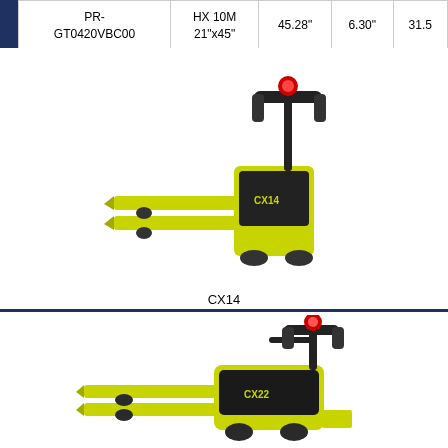| Part Number | Model | Col3 | Col4 | Col5 |
| --- | --- | --- | --- | --- |
| PR-GT0420VBC00 | HX 10M 21"x45" | 45.28" | 6.30" | 31.5 |
| PR-GT0440VBC00 | HX 10M 27"x45" | 45.28" | 6.30" | 31.5 |
[Figure (photo): CX14 electric pallet truck, yellow-green body with black motor unit, two forks extending forward, handle/tiller visible at top]
CX14
[Figure (photo): Electric pallet truck (CX22 or similar), yellow-green body with black motor unit, two forks, larger ride-on platform, handle visible at top]